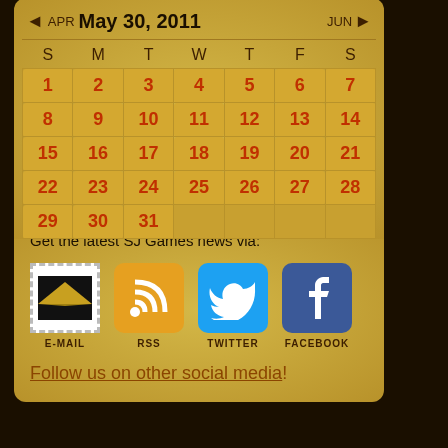[Figure (screenshot): Button: DISCUSS THIS POST ON THE FORUMS]
Permalink • Archive • Illuminated Site of the Week
Get the latest SJ Games news via:
[Figure (logo): Social media icons: E-MAIL (pyramid stamp), RSS (orange RSS icon), TWITTER (blue bird), FACEBOOK (blue f)]
Follow us on other social media!
| S | M | T | W | T | F | S |
| --- | --- | --- | --- | --- | --- | --- |
| 1 | 2 | 3 | 4 | 5 | 6 | 7 |
| 8 | 9 | 10 | 11 | 12 | 13 | 14 |
| 15 | 16 | 17 | 18 | 19 | 20 | 21 |
| 22 | 23 | 24 | 25 | 26 | 27 | 28 |
| 29 | 30 | 31 |  |  |  |  |